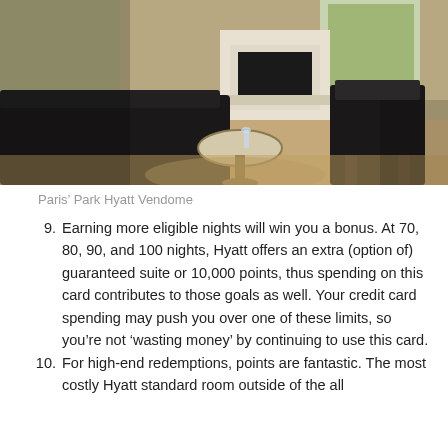[Figure (photo): Interior of Paris' Park Hyatt Vendome hotel room with dark sofa, round table, chairs, and fireplace]
Paris' Park Hyatt Vendome
9. Earning more eligible nights will win you a bonus. At 70, 80, 90, and 100 nights, Hyatt offers an extra (option of) guaranteed suite or 10,000 points, thus spending on this card contributes to those goals as well. Your credit card spending may push you over one of these limits, so you're not 'wasting money' by continuing to use this card.
10. For high-end redemptions, points are fantastic. The most costly Hyatt standard room outside of the all…